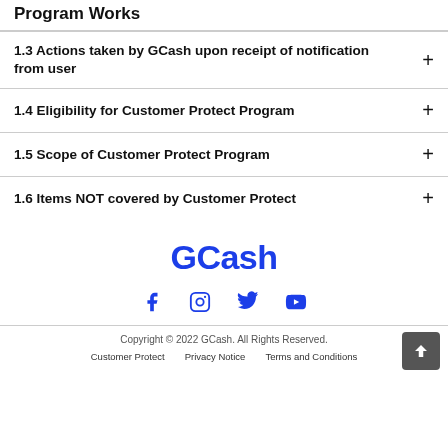Program Works
1.3 Actions taken by GCash upon receipt of notification from user +
1.4 Eligibility for Customer Protect Program +
1.5 Scope of Customer Protect Program +
1.6 Items NOT covered by Customer Protect +
[Figure (logo): GCash blue logo with social media icons: Facebook, Instagram, Twitter, YouTube]
Copyright © 2022 GCash. All Rights Reserved. | Customer Protect | Privacy Notice | Terms and Conditions